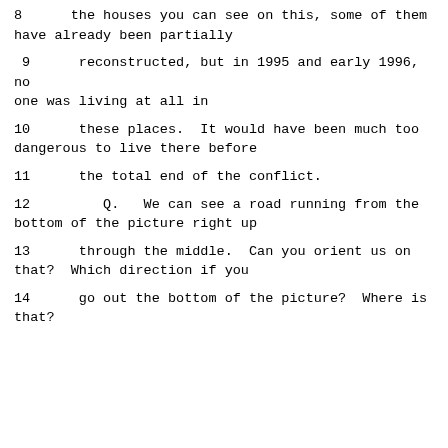8      the houses you can see on this, some of them have already been partially
9      reconstructed, but in 1995 and early 1996, no one was living at all in
10      these places.  It would have been much too dangerous to live there before
11      the total end of the conflict.
12         Q.   We can see a road running from the bottom of the picture right up
13      through the middle.  Can you orient us on that?  Which direction if you
14      go out the bottom of the picture?  Where is that?